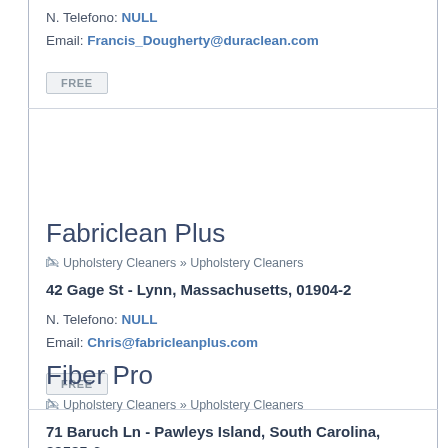N. Telefono: NULL
Email: Francis_Dougherty@duraclean.com
FREE
Fabriclean Plus
Upholstery Cleaners » Upholstery Cleaners
42 Gage St - Lynn, Massachusetts, 01904-2
N. Telefono: NULL
Email: Chris@fabricleanplus.com
FREE
Fiber Pro
Upholstery Cleaners » Upholstery Cleaners
71 Baruch Ln - Pawleys Island, South Carolina, 29585-6
N. Telefono: NULL
Email: M.Hoerner@fiber-pro.com